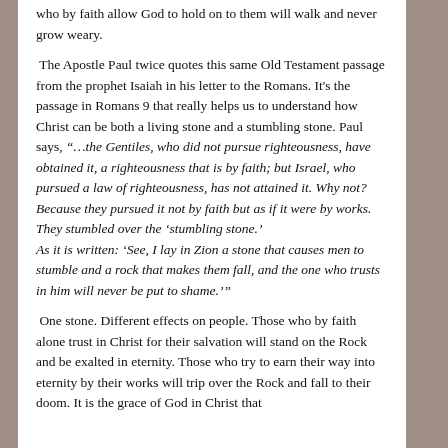who by faith allow God to hold on to them will walk and never grow weary.
The Apostle Paul twice quotes this same Old Testament passage from the prophet Isaiah in his letter to the Romans. It's the passage in Romans 9 that really helps us to understand how Christ can be both a living stone and a stumbling stone. Paul says, “…the Gentiles, who did not pursue righteousness, have obtained it, a righteousness that is by faith; but Israel, who pursued a law of righteousness, has not attained it. Why not? Because they pursued it not by faith but as if it were by works. They stumbled over the ‘stumbling stone.’
As it is written: ‘See, I lay in Zion a stone that causes men to stumble and a rock that makes them fall, and the one who trusts in him will never be put to shame.’”
One stone. Different effects on people. Those who by faith alone trust in Christ for their salvation will stand on the Rock and be exalted in eternity. Those who try to earn their way into eternity by their works will trip over the Rock and fall to their doom. It is the grace of God in Christ that